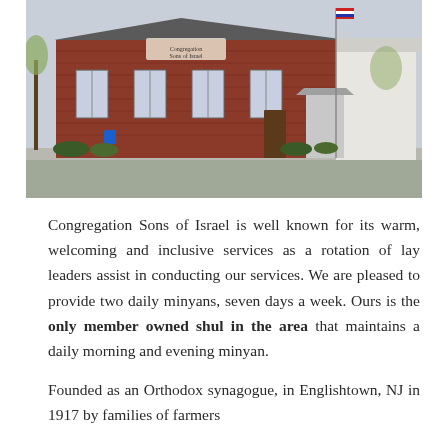[Figure (photo): Exterior photo of a red brick building (Congregation Sons of Israel synagogue) with a sign on the facade, American flag on a flagpole, and a canopy entrance. Trees visible in background, parking area in foreground.]
Congregation Sons of Israel is well known for its warm, welcoming and inclusive services as a rotation of lay leaders assist in conducting our services. We are pleased to provide two daily minyans, seven days a week. Ours is the only member owned shul in the area that maintains a daily morning and evening minyan.
Founded as an Orthodox synagogue, in Englishtown, NJ in 1917 by families of farmers